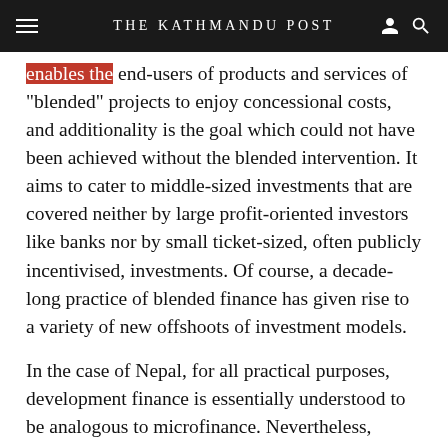THE KATHMANDU POST
enables the end-users of products and services of "blended" projects to enjoy concessional costs, and additionality is the goal which could not have been achieved without the blended intervention. It aims to cater to middle-sized investments that are covered neither by large profit-oriented investors like banks nor by small ticket-sized, often publicly incentivised, investments. Of course, a decade-long practice of blended finance has given rise to a variety of new offshoots of investment models.
In the case of Nepal, for all practical purposes, development finance is essentially understood to be analogous to microfinance. Nevertheless, several studies have realistically evaluated Nepal's prospects of promoting the blended nature of financing. Nepal has lately presented an example of "private sector only" blended finance, which is a departure even at the